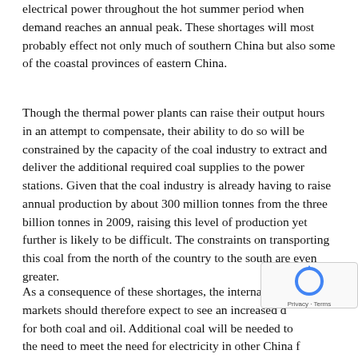electrical power throughout the hot summer period when demand reaches an annual peak. These shortages will most probably effect not only much of southern China but also some of the coastal provinces of eastern China.
Though the thermal power plants can raise their output hours in an attempt to compensate, their ability to do so will be constrained by the capacity of the coal industry to extract and deliver the additional required coal supplies to the power stations. Given that the coal industry is already having to raise annual production by about 300 million tonnes from the three billion tonnes in 2009, raising this level of production yet further is likely to be difficult. The constraints on transporting this coal from the north of the country to the south are even greater.
As a consequence of these shortages, the international markets should therefore expect to see an increased d... for both coal and oil. Additional coal will be needed to the need to meet the need for electricity in other China f...